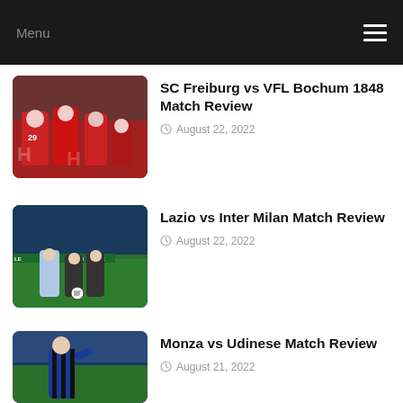Menu
[Figure (photo): SC Freiburg vs VFL Bochum 1848 match photo showing players in red jerseys, number 29 visible]
SC Freiburg vs VFL Bochum 1848 Match Review
August 22, 2022
[Figure (photo): Lazio vs Inter Milan match photo showing players on pitch with LE SID DI TE advertising boards]
Lazio vs Inter Milan Match Review
August 22, 2022
[Figure (photo): Monza vs Udinese match photo showing player in blue and black striped jersey]
Monza vs Udinese Match Review
August 21, 2022